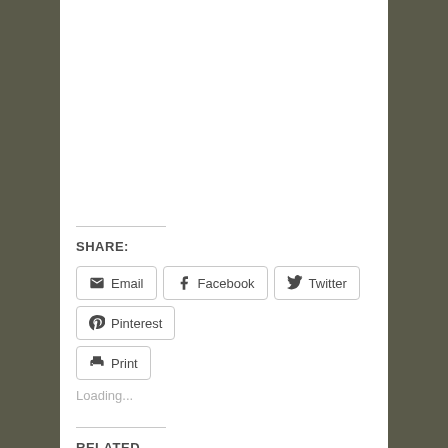SHARE:
Email  Facebook  Twitter  Pinterest  Print
Loading...
RELATED